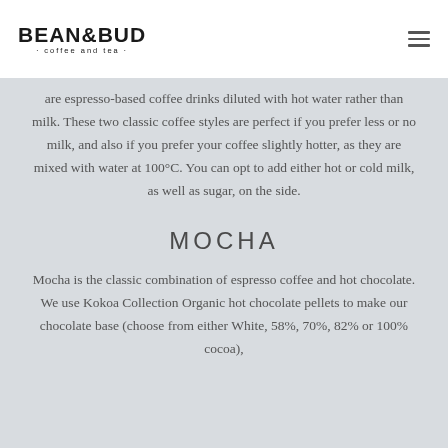BEAN&BUD · coffee and tea ·
are espresso-based coffee drinks diluted with hot water rather than milk. These two classic coffee styles are perfect if you prefer less or no milk, and also if you prefer your coffee slightly hotter, as they are mixed with water at 100°C. You can opt to add either hot or cold milk, as well as sugar, on the side.
MOCHA
Mocha is the classic combination of espresso coffee and hot chocolate. We use Kokoa Collection Organic hot chocolate pellets to make our chocolate base (choose from either White, 58%, 70%, 82% or 100% cocoa),